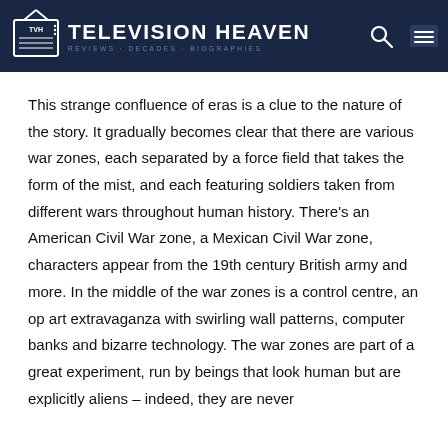TELEVISION HEAVEN
This strange confluence of eras is a clue to the nature of the story. It gradually becomes clear that there are various war zones, each separated by a force field that takes the form of the mist, and each featuring soldiers taken from different wars throughout human history. There's an American Civil War zone, a Mexican Civil War zone, characters appear from the 19th century British army and more. In the middle of the war zones is a control centre, an op art extravaganza with swirling wall patterns, computer banks and bizarre technology. The war zones are part of a great experiment, run by beings that look human but are explicitly aliens – indeed, they are never